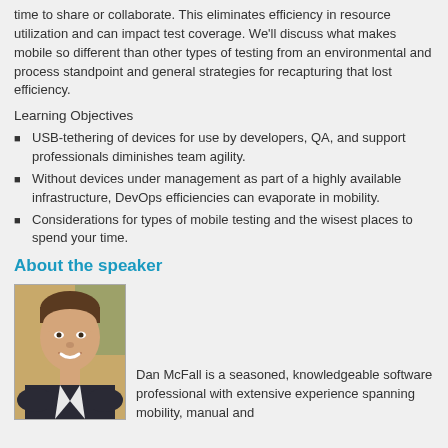time to share or collaborate. This eliminates efficiency in resource utilization and can impact test coverage. We'll discuss what makes mobile so different than other types of testing from an environmental and process standpoint and general strategies for recapturing that lost efficiency.
Learning Objectives
USB-tethering of devices for use by developers, QA, and support professionals diminishes team agility.
Without devices under management as part of a highly available infrastructure, DevOps efficiencies can evaporate in mobility.
Considerations for types of mobile testing and the wisest places to spend your time.
About the speaker
[Figure (photo): Headshot photo of Dan McFall, a man smiling, wearing a dark jacket]
Dan McFall is a seasoned, knowledgeable software professional with extensive experience spanning mobility, manual and